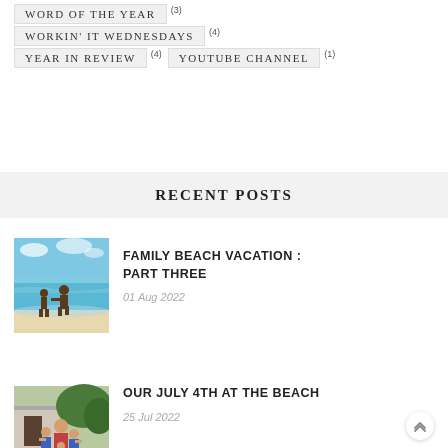WORD OF THE YEAR (3)
WORKIN' IT WEDNESDAYS (4)
YEAR IN REVIEW (4)
YOUTUBE CHANNEL (1)
RECENT POSTS
[Figure (photo): Two children running into the ocean on a beach, shallow water, blue sky]
FAMILY BEACH VACATION : PART THREE
01 Aug 2022
[Figure (photo): A woman and two children posing outdoors near a building]
OUR JULY 4TH AT THE BEACH
25 Jul 2022